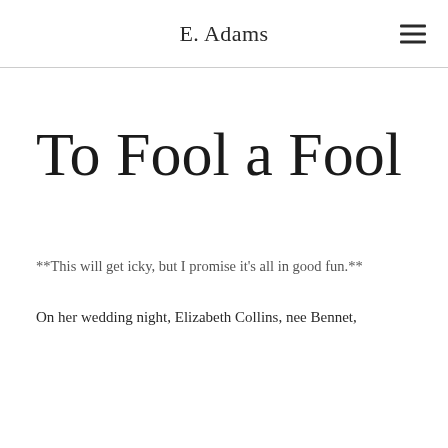E. Adams
To Fool a Fool
**This will get icky, but I promise it's all in good fun.**
On her wedding night, Elizabeth Collins, nee Bennet,